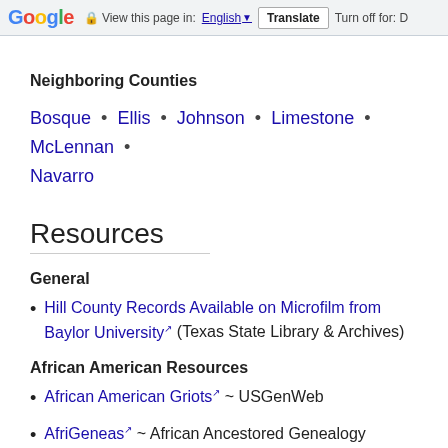Google  View this page in: English  Translate  Turn off for: D
Neighboring Counties
Bosque • Ellis • Johnson • Limestone • McLennan • Navarro
Resources
General
Hill County Records Available on Microfilm from Baylor University (Texas State Library & Archives)
African American Resources
African American Griots ~ USGenWeb
AfriGeneas ~ African Ancestored Genealogy